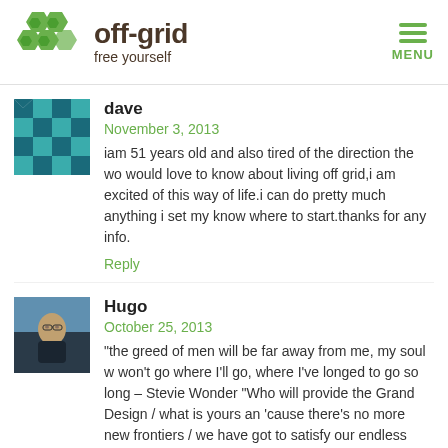[Figure (logo): off-grid free yourself logo with green hexagon icons and dark brown text]
dave
November 3, 2013
iam 51 years old and also tired of the direction the wo would love to know about living off grid,i am excited of this way of life.i can do pretty much anything i set my know where to start.thanks for any info.
Reply
Hugo
October 25, 2013
“the greed of men will be far away from me, my soul w won't go where I'll go, where I've longed to go so long – Stevie Wonder “Who will provide the Grand Design / what is yours an 'cause there's no more new frontiers / we have got to satisfy our endless needs and justify our bloody deeds Destiny and in the name of God” The Last Resort – D – Nice to meet you my friends!